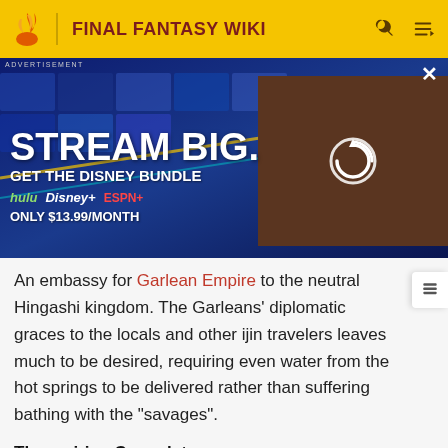FINAL FANTASY WIKI
[Figure (screenshot): Advertisement banner for Disney Bundle: 'STREAM BIG. GET THE DISNEY BUNDLE' featuring Hulu, Disney+, ESPN+ logos, ONLY $13.99/MONTH, with a video thumbnail on the right showing a loading spinner over a desert scene.]
An embassy for Garlean Empire to the neutral Hingashi kingdom. The Garleans' diplomatic graces to the locals and other ijin travelers leaves much to be desired, requiring even water from the hot springs to be delivered rather than suffering bathing with the "savages".
Thavnairian Consulate
An embassy from the island nation of Thavnair.